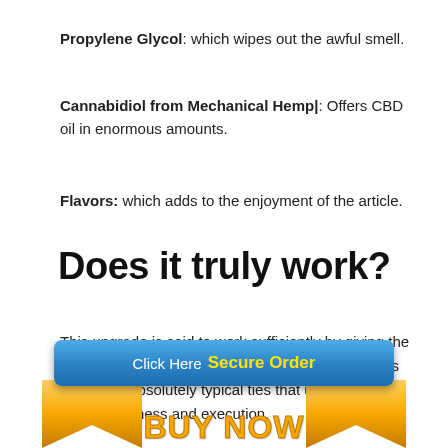Propylene Glycol: which wipes out the awful smell.
Cannabidiol from Mechanical Hemp|: Offers CBD oil in enormous amounts.
Flavors: which adds to the enjoyment of the article.
Does it truly work?
This upgrade is said to work sufficiently by giving the best CBD that the body uses to work ordinarily. It is upheld by absolutely typical ties that upgrade its appropriateness and execution.
[Figure (infographic): Blue button with 'Click Here  Secure Order' text and orange arrow BUY NOW banner at the bottom of the page]